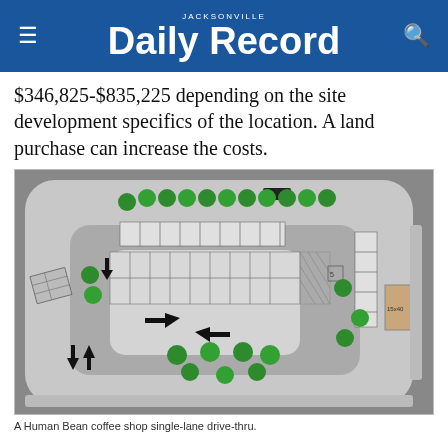JACKSONVILLE Daily Record
$346,825-$835,225 depending on the site development specifics of the location. A land purchase can increase the costs.
[Figure (engineering-diagram): Top-down architectural site plan of a Human Bean coffee shop single-lane drive-thru, showing parking spaces, drive-thru lane, trees/landscaping, building footprint labeled 15x40, and traffic flow arrows.]
A Human Bean coffee shop single-lane drive-thru.